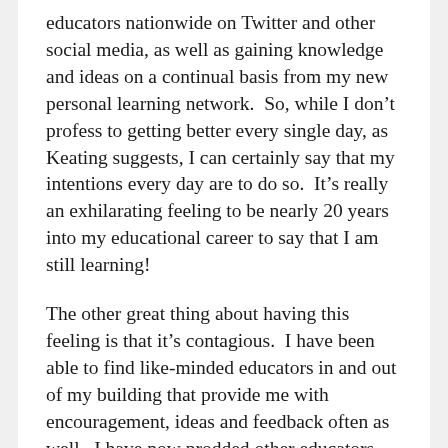educators nationwide on Twitter and other social media, as well as gaining knowledge and ideas on a continual basis from my new personal learning network.  So, while I don't profess to getting better every single day, as Keating suggests, I can certainly say that my intentions every day are to do so.  It's really an exhilarating feeling to be nearly 20 years into my educational career to say that I am still learning!
The other great thing about having this feeling is that it's contagious.  I have been able to find like-minded educators in and out of my building that provide me with encouragement, ideas and feedback often as well.  I have now prodded other educators, and they now have caught the bug, just like I did, and now are finding their own ways to improve themselves